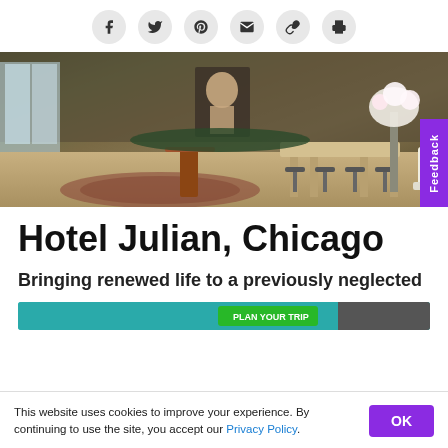Social share icons: Facebook, Twitter, Pinterest, Email, Link, Print
[Figure (photo): Interior photo of Hotel Julian Chicago restaurant/lounge area with exposed brick walls, green upholstered seating, wooden tables and stools, floral arrangements, and warm lighting]
Hotel Julian, Chicago
Bringing renewed life to a previously neglected
[Figure (screenshot): Partial advertisement banner with teal and green colors, partially visible]
This website uses cookies to improve your experience. By continuing to use the site, you accept our Privacy Policy.